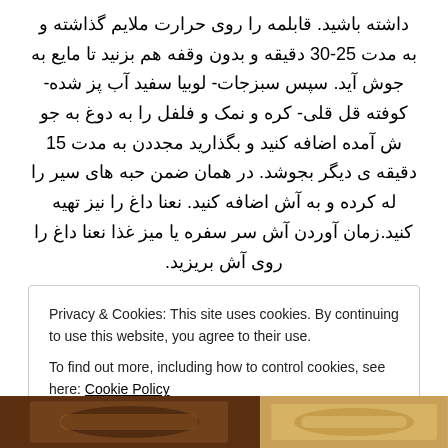داشته باشید. قابلمه را روی حرارت ملایم گذاشته و به مدت 25-30 دقیقه و بدون وقفه هم بزنید تا مایع به جوش آید. سپس سبزجات- لوبیا سفید آب پز شده- کوفته قل قلی- کره و نمک و فلفل را به دوغ به جو ش آمده اضافه کنید و بگذارید مجددن به مدت 15 دقیقه ی دیگر بجوشد. در همان ضمن حبه های سیر را له کرده و به آش اضافه کنید. نعنا داغ را نیز تهیه کنید.زمان آوردن آش سر سفره یا میز غذا نعنا داغ را روی آش بریزید.
Privacy & Cookies: This site uses cookies. By continuing to use this website, you agree to their use.
To find out more, including how to control cookies, see here: Cookie Policy
Close and accept
[Figure (photo): Two images shown at the bottom of the page partially visible: left image appears to show food (dark colored dish), right image appears to show food or ingredients (lighter, golden tones).]